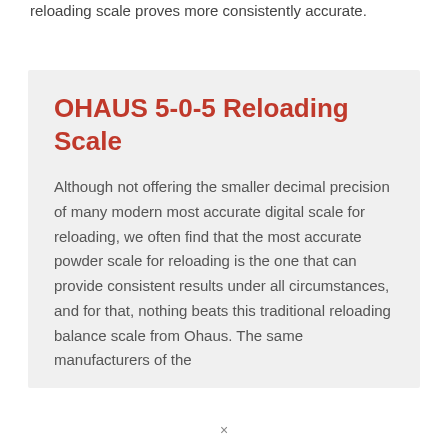reloading scale proves more consistently accurate.
OHAUS 5-0-5 Reloading Scale
Although not offering the smaller decimal precision of many modern most accurate digital scale for reloading, we often find that the most accurate powder scale for reloading is the one that can provide consistent results under all circumstances, and for that, nothing beats this traditional reloading balance scale from Ohaus. The same manufacturers of the